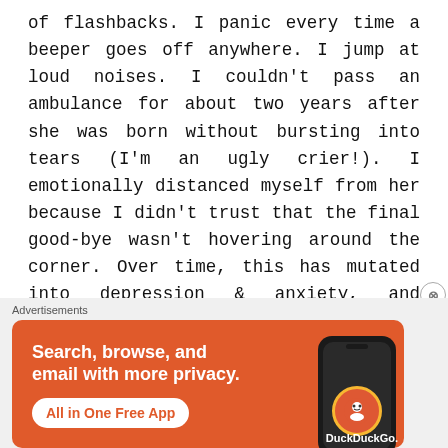of flashbacks. I panic every time a beeper goes off anywhere. I jump at loud noises. I couldn't pass an ambulance for about two years after she was born without bursting into tears (I'm an ugly crier!). I emotionally distanced myself from her because I didn't trust that the final good-bye wasn't hovering around the corner. Over time, this has mutated into depression & anxiety, and occasional insomnia. Bouts of therapy have helped. Talking to friends, reading blogs, researching has helped. The fact
[Figure (other): DuckDuckGo advertisement banner: orange background with text 'Search, browse, and email with more privacy. All in One Free App' and a phone image showing the DuckDuckGo logo.]